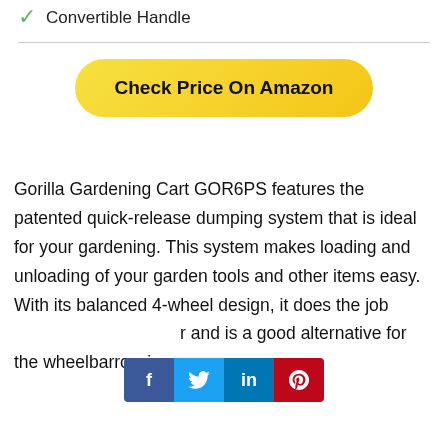✓ Convertible Handle
[Figure (other): Yellow rounded button with text 'Check Price On Amazon']
Gorilla Gardening Cart GOR6PS features the patented quick-release dumping system that is ideal for your gardening. This system makes loading and unloading of your garden tools and other items easy. With its balanced 4-wheel design, it does the job [social bar overlay] r and is a good alternative for the wheelbarrow in your
[Figure (infographic): Social sharing bar with Facebook, Twitter, LinkedIn, and Pinterest buttons]